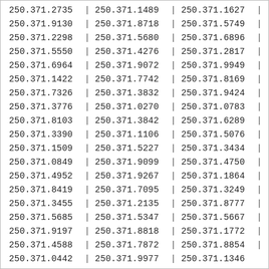| 250.371.2735 | | | 250.371.1489 | | | 250.371.1627 | | |
| 250.371.9130 | | | 250.371.8718 | | | 250.371.5749 | | |
| 250.371.2298 | | | 250.371.5680 | | | 250.371.6896 | | |
| 250.371.5550 | | | 250.371.4276 | | | 250.371.2817 | | |
| 250.371.6964 | | | 250.371.9072 | | | 250.371.9949 | | |
| 250.371.1422 | | | 250.371.7742 | | | 250.371.8169 | | |
| 250.371.7326 | | | 250.371.3832 | | | 250.371.9424 | | |
| 250.371.3776 | | | 250.371.0270 | | | 250.371.0783 | | |
| 250.371.8103 | | | 250.371.3842 | | | 250.371.6289 | | |
| 250.371.3390 | | | 250.371.1106 | | | 250.371.5076 | | |
| 250.371.1509 | | | 250.371.5227 | | | 250.371.3434 | | |
| 250.371.0849 | | | 250.371.9099 | | | 250.371.4750 | | |
| 250.371.4952 | | | 250.371.9267 | | | 250.371.1864 | | |
| 250.371.8419 | | | 250.371.7095 | | | 250.371.3249 | | |
| 250.371.3455 | | | 250.371.2135 | | | 250.371.8777 | | |
| 250.371.5685 | | | 250.371.5347 | | | 250.371.5667 | | |
| 250.371.9197 | | | 250.371.8818 | | | 250.371.1772 | | |
| 250.371.4588 | | | 250.371.7872 | | | 250.371.8854 | | |
| 250.371.0442 | | | 250.371.9977 | | | 250.371.1346 |  |